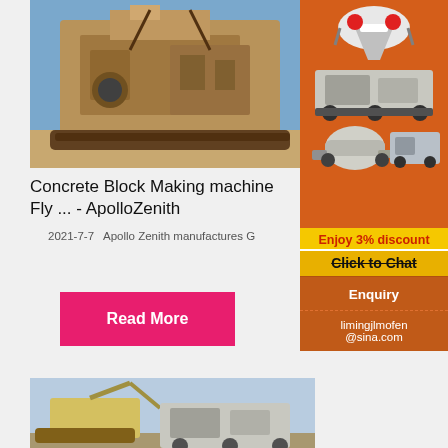[Figure (photo): Large industrial concrete block making or mining machine (tan/yellow colored) photographed outdoors in a desert setting]
Concrete Block Making machine Fly ... - ApolloZenith
2021-7-7   Apollo Zenith manufactures G
Read More
[Figure (photo): Excavator and crushing/mining equipment at a work site]
Group
Masa
[Figure (illustration): Advertisement banner showing mining/crushing machines on orange background with discount offer]
Enjoy 3% discount
Click to Chat
Enquiry
limingjlmofen
@sina.com